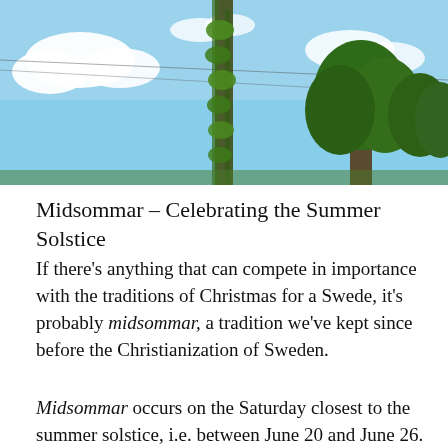[Figure (photo): Outdoor photo of a tall ivy-covered pole/column against a bright blue sky with white clouds, with green trees visible to the right.]
Midsommar – Celebrating the Summer Solstice
If there's anything that can compete in importance with the traditions of Christmas for a Swede, it's probably midsommar, a tradition we've kept since before the Christianization of Sweden.
Midsommar occurs on the Saturday closest to the summer solstice, i.e. between June 20 and June 26. Like